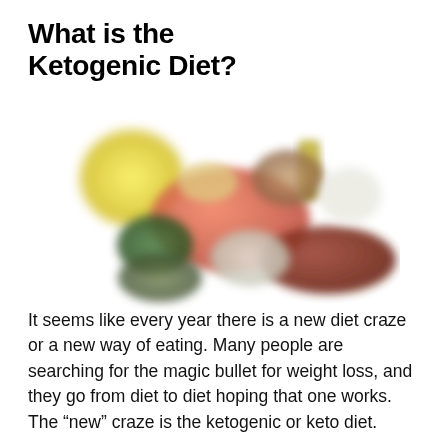What is the Ketogenic Diet?
[Figure (photo): A blurred/soft-focus arrangement of ketogenic diet foods including salmon, avocado, vegetables, meat, olive oil bottle, nuts, and other high-fat low-carb foods on a white background.]
It seems like every year there is a new diet craze or a new way of eating. Many people are searching for the magic bullet for weight loss, and they go from diet to diet hoping that one works. The “new” craze is the ketogenic or keto diet.